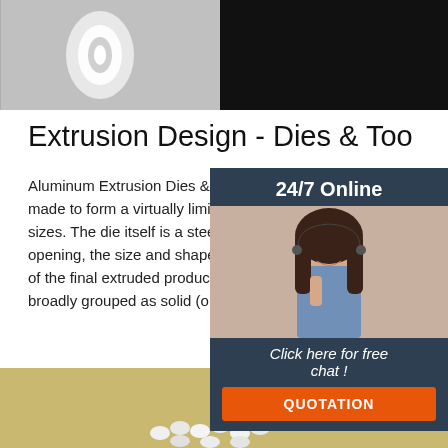[Figure (photo): Top photo showing extruded aluminum tube/cylinder parts against dark background]
Extrusion Design - Dies & Too...
Aluminum Extrusion Dies & Tooling. Extrusion made to form a virtually limitless array of shapes and sizes. The die itself is a steel disk (normally having an opening, the size and shape of the intended cross-section of the final extruded product, cut through it. Dies are broadly grouped as solid (or flat) dies, which...
[Figure (photo): 24/7 online chat widget with woman wearing headset, button to click for free chat and QUOTATION button]
Get Price
[Figure (photo): Bottom photo showing small white cylindrical plastic/aluminum pellets or extrusion pieces on tan background, with orange TOP logo in upper right]